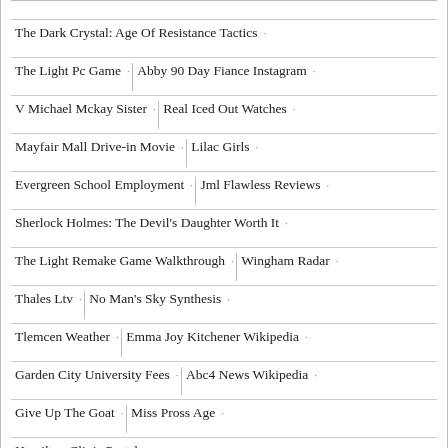The Dark Crystal: Age Of Resistance Tactics
The Light Pc Game
Abby 90 Day Fiance Instagram
V Michael Mckay Sister
Real Iced Out Watches
Mayfair Mall Drive-in Movie
Lilac Girls
Evergreen School Employment
Jml Flawless Reviews
Sherlock Holmes: The Devil's Daughter Worth It
The Light Remake Game Walkthrough
Wingham Radar
Thales Ltv
No Man's Sky Synthesis
Tlemcen Weather
Emma Joy Kitchener Wikipedia
Garden City University Fees
Abc4 News Wikipedia
Give Up The Goat
Miss Pross Age
Hamilton Clinic Portal
Virginia Senate Race 2020 Candidates
Women In Love" Author
Sikorsky Helicopter Models